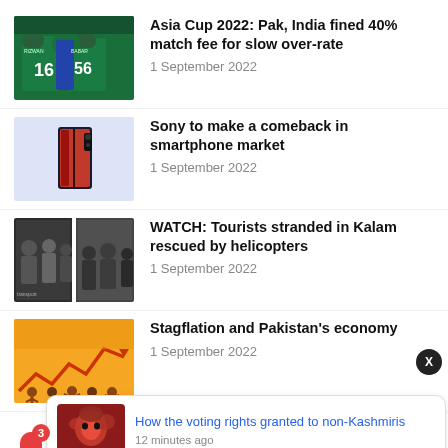[Figure (photo): Two cricket players in green jerseys (numbers 16 and 56) embracing]
Asia Cup 2022: Pak, India fined 40% match fee for slow over-rate
1 September 2022
[Figure (photo): Sony smartphone on light blue background]
Sony to make a comeback in smartphone market
1 September 2022
[Figure (photo): Collage of tourists stranded in Kalam, people in crowded conditions]
WATCH: Tourists stranded in Kalam rescued by helicopters
1 September 2022
[Figure (illustration): Orange and yellow illustration of zigzag chart with silhouettes of people]
Stagflation and Pakistan's economy
1 September 2022
[Figure (photo): Close-up of a person with red face paint or powder]
How the voting rights granted to non-Kashmiris
12 minutes ago
dwindling forex reserves
1 September 2022